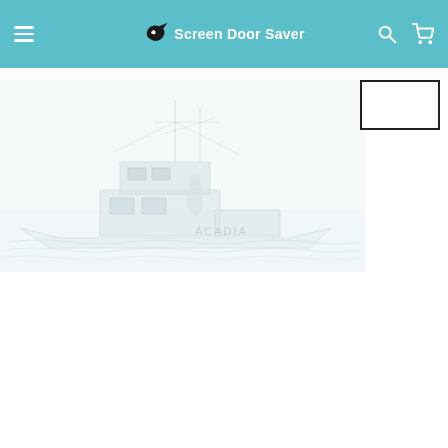Screen Door Saver - navigation header with menu, logo, search and cart icons
[Figure (illustration): Faded/blurred pencil sketch illustration of a fishing boat named ACADIA on water, shown in light gray tones]
[Figure (other): Small rectangular selection/crop box outline positioned at top right of the page content area]